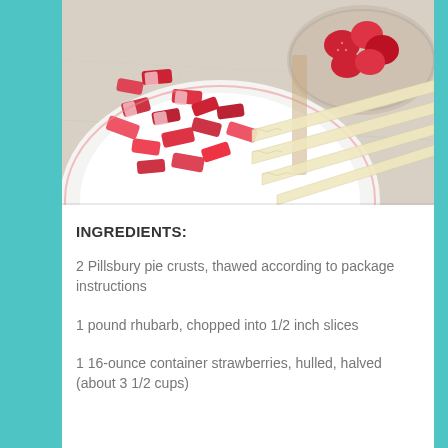[Figure (photo): Overhead view of chopped rhubarb in a white bowl, fresh strawberries in a glass bowl, and strips of pie crust dough on a marble surface]
INGREDIENTS:
2 Pillsbury pie crusts, thawed according to package instructions
1 pound rhubarb, chopped into 1/2 inch slices
1 16-ounce container strawberries, hulled, halved (about 3 1/2 cups)